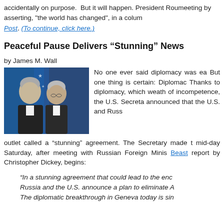accidentally on purpose. But it will happen. President Roun meeting by asserting, "the world has changed", in a colum
Post. (To continue, click here.)
Peaceful Pause Delivers “Stunning” News
by James M. Wall
[Figure (photo): Two men in suits speaking closely together, diplomatic meeting photo]
No one ever said diplomacy was ea But one thing is certain: Diplomac Thanks to diplomacy, which weath of incompetence, the U.S. Secreta announced that the U.S. and Russ outlet called a “stunning” agreement. The Secretary made t mid-day Saturday, after meeting with Russian Foreign Minis Beast report by Christopher Dickey, begins:
“In a stunning agreement that could lead to the enc Russia and the U.S. announce a plan to eliminate A The diplomatic breakthrough in Geneva today is sin